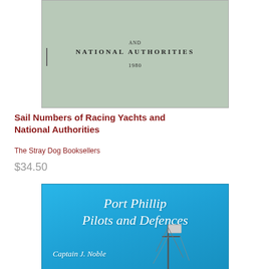[Figure (photo): Book cover of 'Sail Numbers of Racing Yachts and National Authorities', light green/sage colored cover with text 'AND NATIONAL AUTHORITIES 1980']
Sail Numbers of Racing Yachts and National Authorities
The Stray Dog Booksellers
$34.50
[Figure (photo): Book cover of 'Port Phillip Pilots and Defences' by Captain J. Noble, bright blue sky background with white italic serif text and a ship mast with flag visible at bottom right]